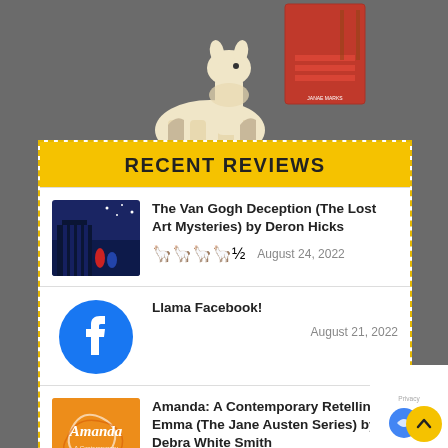[Figure (illustration): Top portion of a llama illustration with a book cover in the background, on a gray background]
RECENT REVIEWS
[Figure (photo): Book cover for The Van Gogh Deception (The Lost Art Mysteries) — dark blue winter scene]
The Van Gogh Deception (The Lost Art Mysteries) by Deron Hicks
🦙🦙🦙🦙½  August 24, 2022
[Figure (logo): Facebook logo icon (blue circle with white f)]
Llama Facebook!
August 21, 2022
[Figure (photo): Book cover for Amanda: A Contemporary Retelling of Emma — orange and golden cursive design]
Amanda: A Contemporary Retelling of Emma (The Jane Austen Series) by Debra White Smith